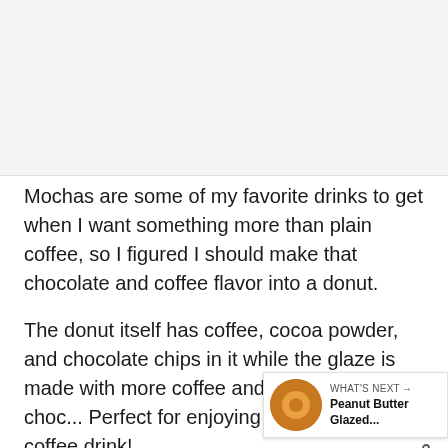[Figure (photo): Food/recipe photo placeholder area at top of page]
Mochas are some of my favorite drinks to get when I want something more than plain coffee, so I figured I should make that chocolate and coffee flavor into a donut.
The donut itself has coffee, cocoa powder, and chocolate chips in it while the glaze is made with more coffee and the sprinkles are choc... Perfect for enjoying with your favorite coffee drink!
[Figure (infographic): WHAT'S NEXT overlay with thumbnail of Peanut Butter Glazed donut]